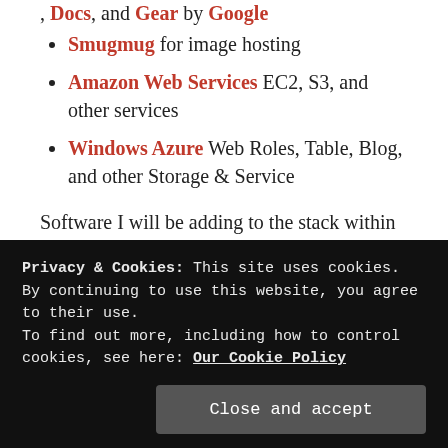Smugmug for image hosting
Amazon Web Services EC2, S3, and other services
Windows Azure Web Roles, Table, Blog, and other Storage & Service
Software I will be adding to the stack within the next few days, weeks, and months.
Ruby on Rails
Cucumber
Privacy & Cookies: This site uses cookies. By continuing to use this website, you agree to their use. To find out more, including how to control cookies, see here: Our Cookie Policy
Like this: